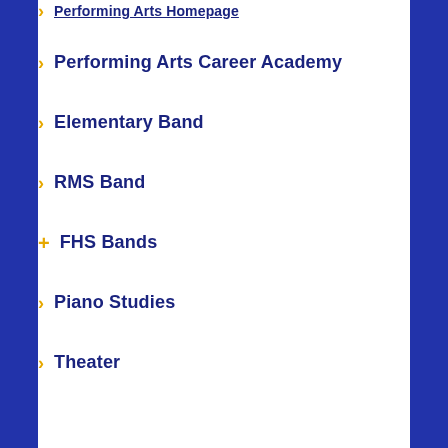Performing Arts Homepage
Performing Arts Career Academy
Elementary Band
RMS Band
FHS Bands
Piano Studies
Theater
Youth Choir
FHS Choirs
RMS Choir